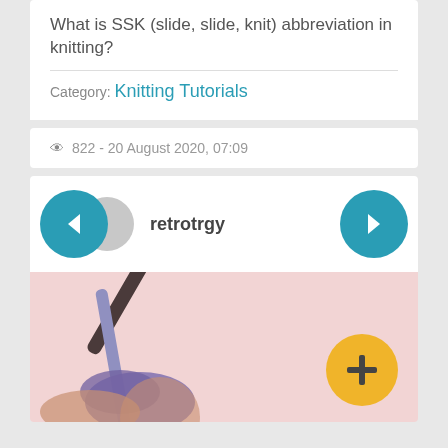What is SSK (slide, slide, knit) abbreviation in knitting?
Category: Knitting Tutorials
822 - 20 August 2020, 07:09
retrotrgy
[Figure (photo): Knitting needles with yarn held in hands, pink background. Navigation arrows left and right with teal circle buttons. Yellow plus button overlay. User avatar circle next to username retrotrgy.]